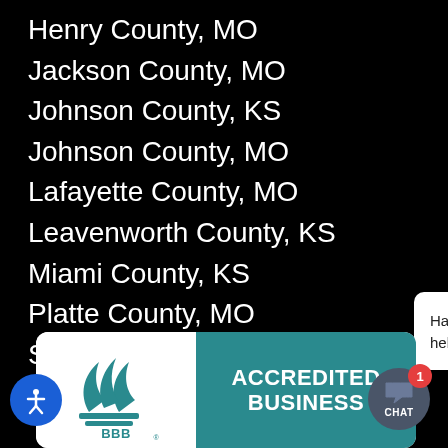Henry County, MO
Jackson County, MO
Johnson County, KS
Johnson County, MO
Lafayette County, MO
Leavenworth County, KS
Miami County, KS
Platte County, MO
St. Joseph, MO
Wyandotte County,
Have a question? We are here to help!
[Figure (logo): BBB Accredited Business logo with teal background]